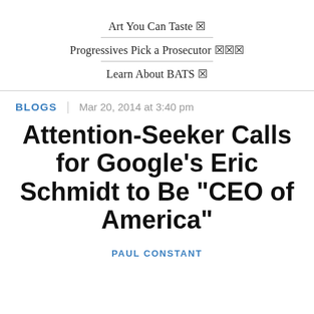Art You Can Taste ☒
Progressives Pick a Prosecutor ☒☒☒
Learn About BATS ☒
BLOGS | Mar 20, 2014 at 3:40 pm
Attention-Seeker Calls for Google's Eric Schmidt to Be "CEO of America"
PAUL CONSTANT